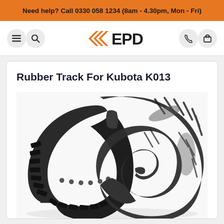Need help? Call 0330 058 1234 (8am - 4.30pm, Mon - Fri)
[Figure (logo): EPD logo with orange chevron/arrow mark and bold EPD text, navigation icons for menu, search, phone, and cart]
Rubber Track For Kubota K013
[Figure (photo): Close-up photograph of a black rubber excavator track for Kubota K013, showing the tread pattern and internal structure, on white background]